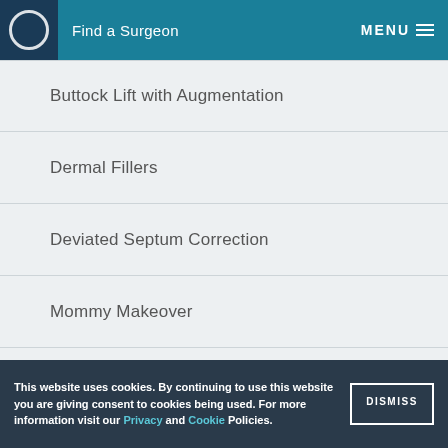Find a Surgeon   MENU
Buttock Lift with Augmentation
Dermal Fillers
Deviated Septum Correction
Mommy Makeover
Rhinoplasty
Tattoo Removal
Thread Lift
This website uses cookies. By continuing to use this website you are giving consent to cookies being used. For more information visit our Privacy and Cookie Policies.